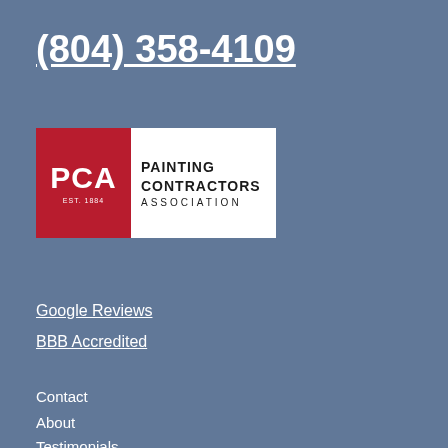(804) 358-4109
[Figure (logo): PCA Painting Contractors Association logo with red square containing PCA text and EST. 1884, and black text on white background]
Google Reviews
BBB Accredited
Contact
About
Testimonials